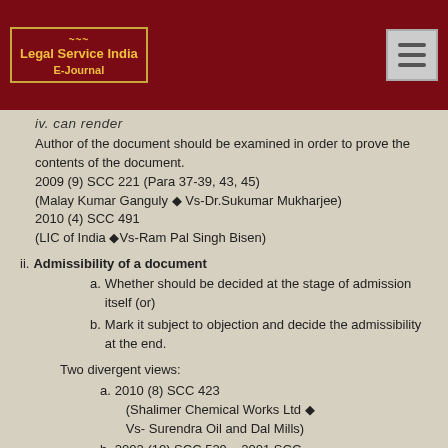[Figure (logo): Legal Service India E-Journal logo in red header bar with golden border]
iv. can render
Author of the document should be examined in order to prove the contents of the document. 2009 (9) SCC 221 (Para 37-39, 43, 45) (Malay Kumar Ganguly ◆ Vs-Dr.Sukumar Mukharjee) 2010 (4) SCC 491 (LIC of India ◆Vs-Ram Pal Singh Bisen)
ii. Admissibility of a document
a. Whether should be decided at the stage of admission itself (or)
b. Mark it subject to objection and decide the admissibility at the end.
Two divergent views:
a. 2010 (8) SCC 423 (Shalimer Chemical Works Ltd ◆ Vs- Surendra Oil and Dal Mills)
b. 2002 (10) SCC 529 – 2001 SCC